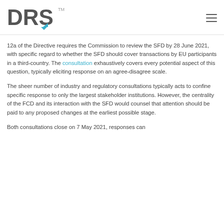DRS
12a of the Directive requires the Commission to review the SFD by 28 June 2021, with specific regard to whether the SFD should cover transactions by EU participants in a third-country. The consultation exhaustively covers every potential aspect of this question, typically eliciting response on an agree-disagree scale.
The sheer number of industry and regulatory consultations typically acts to confine specific response to only the largest stakeholder institutions. However, the centrality of the FCD and its interaction with the SFD would counsel that attention should be paid to any proposed changes at the earliest possible stage.
Both consultations close on 7 May 2021, responses can